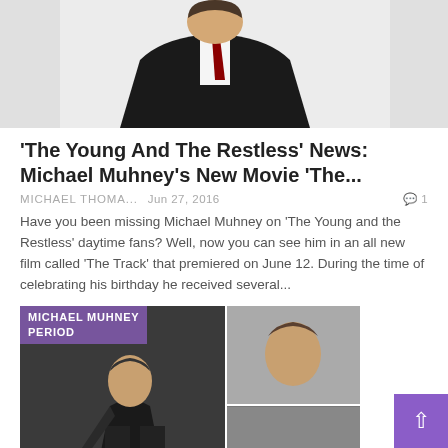[Figure (photo): Photo of a man in a dark suit and tie, cropped showing chest and head area against a light background]
'The Young And The Restless' News: Michael Muhney's New Movie 'The...
MICHAEL THOMA...   Jun 27, 2016   💬 1
Have you been missing Michael Muhney on 'The Young and the Restless' daytime fans? Well, now you can see him in an all new film called 'The Track' that premiered on June 12. During the time of celebrating his birthday he received several...
[Figure (photo): Collage image showing Michael Muhney. Left side: man in black cycling/athletic gear with injury visible on leg. Right side: multiple smaller photos of a man's face from different angles. Purple label overlay reads 'MICHAEL MUHNEY' and 'PERIOD']
'The Young and The Restless' News: "Y&R" Alum Michael Muhney in...